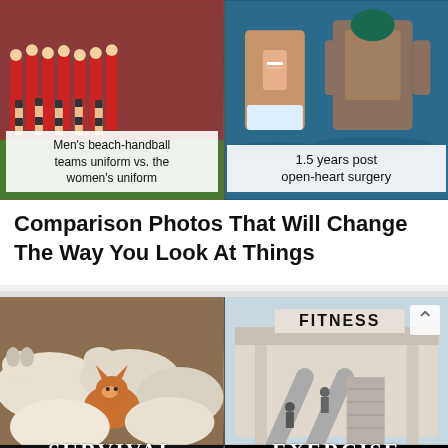[Figure (photo): Two side-by-side photos: left shows men's beach-handball team in shorts and shirts vs women's team in bikinis; right shows muscular man 1.5 years after open-heart surgery]
Men's beach-handball teams uniform vs. the women's uniform
1.5 years post open-heart surgery
Comparison Photos That Will Change The Way You Look At Things
[Figure (photo): Two demotivational poster memes side by side: left shows fox hiding among hounds labeled SURVIVAL 'When you are in deep trouble, say nothing and try to look like'; right shows escalators next to stairs at a fitness center labeled EXERCISE 'Welcome to America.']
SURVIVAL - When you are in deep trouble, say nothing and try to look like
EXERCISE - Welcome to America.
20 Amazingly Hilarious Demotivational Posters